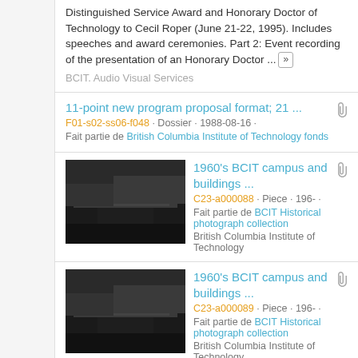Distinguished Service Award and Honorary Doctor of Technology to Cecil Roper (June 21-22, 1995). Includes speeches and award ceremonies. Part 2: Event recording of the presentation of an Honorary Doctor ... »
BCIT. Audio Visual Services
11-point new program proposal format; 21 ... | F01-s02-ss06-f048 · Dossier · 1988-08-16 · | Fait partie de British Columbia Institute of Technology fonds
1960's BCIT campus and buildings ... | C23-a000088 · Piece · 196- · | Fait partie de BCIT Historical photograph collection | British Columbia Institute of Technology
[Figure (photo): Black and white photograph of BCIT campus and buildings, 1960s]
1960's BCIT campus and buildings ... | C23-a000089 · Piece · 196- · | Fait partie de BCIT Historical photograph collection | British Columbia Institute of Technology
[Figure (photo): Black and white photograph of BCIT campus and buildings, 1960s]